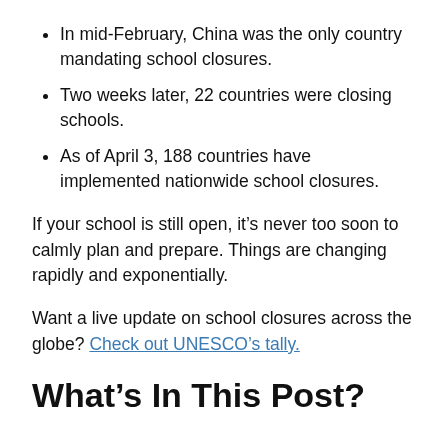In mid-February, China was the only country mandating school closures.
Two weeks later, 22 countries were closing schools.
As of April 3, 188 countries have implemented nationwide school closures.
If your school is still open, it's never too soon to calmly plan and prepare. Things are changing rapidly and exponentially.
Want a live update on school closures across the globe? Check out UNESCO’s tally.
What’s In This Post?